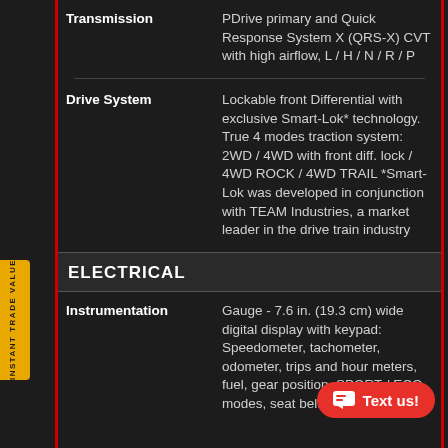| Feature | Description |
| --- | --- |
| Transmission | PDrive primary and Quick Response System X (QRS-X) CVT with high airflow, L / H / N / R / P |
| Drive System | Lockable front Differential with exclusive Smart-Lok* technology. True 4 modes traction system: 2WD / 4WD with front diff. lock / 4WD ROCK / 4WD TRAIL *Smart-Lok was developed in conjunction with TEAM Industries, a market leader in the drive train industry |
ELECTRICAL
| Feature | Description |
| --- | --- |
| Instrumentation | Gauge - 7.6 in. (19.3 cm) wide digital display with keypad: Speedometer, tachometer, odometer, trips and hour meters, fuel, gear position, SPORT / ECO modes, seat belt |